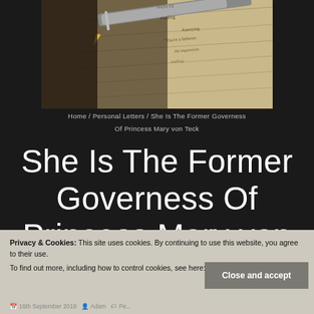[Figure (photo): Close-up photo of a fountain pen on handwritten cursive letter/manuscript paper with visible ink writing]
Home / Personal Letters / She Is The Former Governess
Of Princess Mary von Teck
She Is The Former Governess Of Princess Mary von Teck
Privacy & Cookies: This site uses cookies. By continuing to use this website, you agree to their use.
To find out more, including how to control cookies, see here: Cookie Policy
Close and accept
16th September 2018  Adam  Pe...